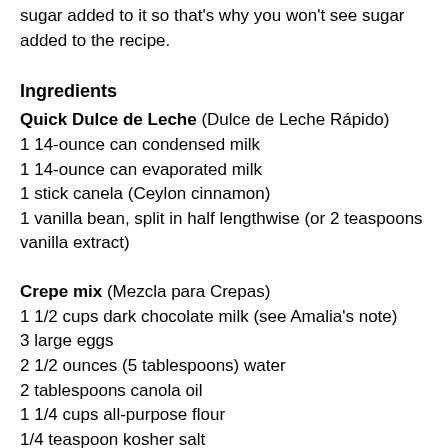sugar added to it so that's why you won't see sugar added to the recipe.
Ingredients
Quick Dulce de Leche (Dulce de Leche Rápido)
1 14-ounce can condensed milk
1 14-ounce can evaporated milk
1 stick canela (Ceylon cinnamon)
1 vanilla bean, split in half lengthwise (or 2 teaspoons vanilla extract)
Crepe mix (Mezcla para Crepas)
1 1/2 cups dark chocolate milk (see Amalia's note)
3 large eggs
2 1/2 ounces (5 tablespoons) water
2 tablespoons canola oil
1 1/4 cups all-purpose flour
1/4 teaspoon kosher salt